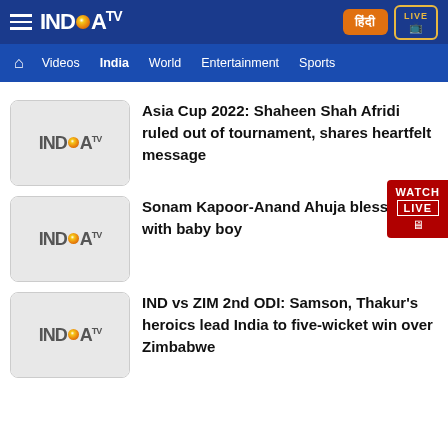India TV – header navigation with logo, Hindi button, Live button, and nav items: Videos, India, World, Entertainment, Sports
Asia Cup 2022: Shaheen Shah Afridi ruled out of tournament, shares heartfelt message
Sonam Kapoor-Anand Ahuja blessed with baby boy
IND vs ZIM 2nd ODI: Samson, Thakur's heroics lead India to five-wicket win over Zimbabwe